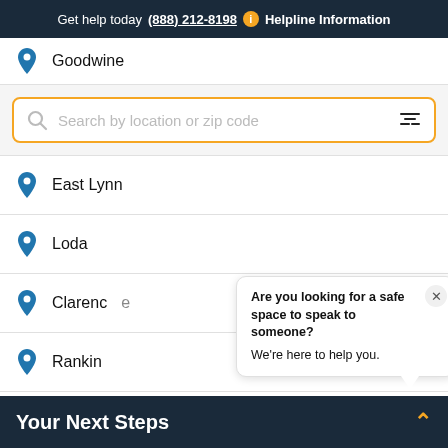Get help today (888) 212-8198  Helpline Information
Goodwine
Search by location or zip code
East Lynn
Loda
Clarence
Rankin
Are you looking for a safe space to speak to someone? We're here to help you.
Milford
Your Next Steps